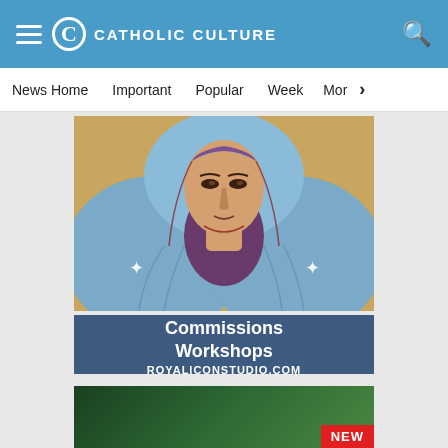Catholic Culture — navigation header with hamburger menu, logo, and search icon
News Home | Important | Popular | Week | More >
[Figure (illustration): Religious icon painting of the Virgin Mary (Byzantine/Orthodox style) with blue veil and gold halo background, with text overlay: Commissions / Workshops / ROYALICONSTUDIO.COM on a steel-blue background]
[Figure (illustration): Partially visible second advertisement banner with dark/green background and NEW badge in red]